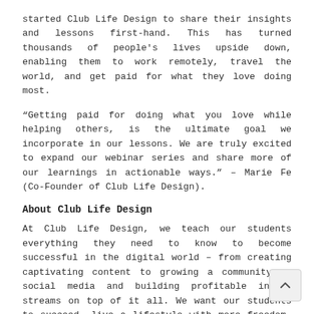started Club Life Design to share their insights and lessons first-hand. This has turned thousands of people's lives upside down, enabling them to work remotely, travel the world, and get paid for what they love doing most.
“Getting paid for doing what you love while helping others, is the ultimate goal we incorporate in our lessons. We are truly excited to expand our webinar series and share more of our learnings in actionable ways.” – Marie Fe (Co-Founder of Club Life Design).
About Club Life Design
At Club Life Design, we teach our students everything they need to know to become successful in the digital world – from creating captivating content to growing a community on social media and building profitable income streams on top of it all. We want our students to succeed, live a lifestyle with more freedom, get the chance to make money remotely, and be location-independent.